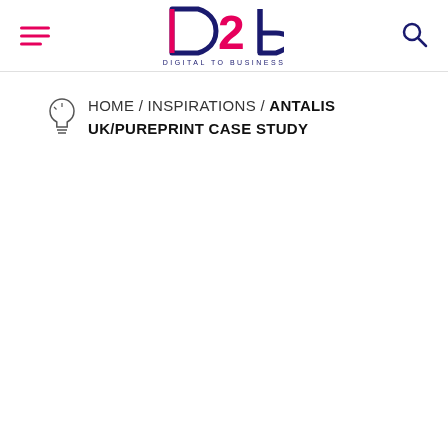d2b Digital to Business — navigation header with hamburger menu and search icon
HOME / INSPIRATIONS / ANTALIS UK/PUREPRINT CASE STUDY